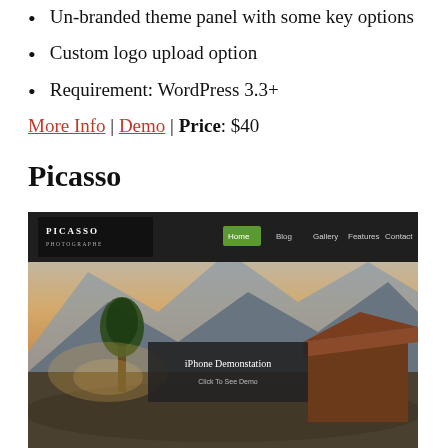Un-branded theme panel with some key options
Custom logo upload option
Requirement: WordPress 3.3+
More Info | Demo | Price: $40
Picasso
[Figure (screenshot): Screenshot of the Picasso photography WordPress theme, showing a dark navigation bar with PICASSO PHOTOGRAPHE logo on the left and Home, Blog, Gallery, Features, Contact menu items on the right. A green button highlights the Home item. A full-width background image shows a rustic landscape with mountains and a barn. A dark overlay box in the center reads 'iPhone Demonstation - Click To See Demo'.]